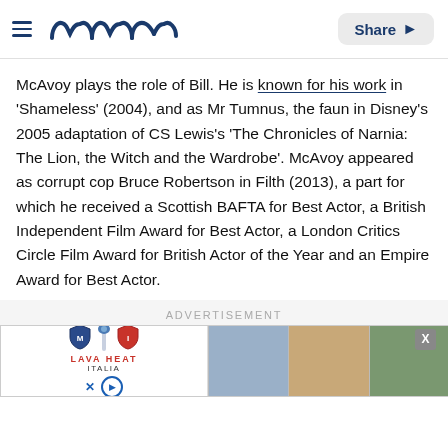Meaww — Share
McAvoy plays the role of Bill. He is known for his work in 'Shameless' (2004), and as Mr Tumnus, the faun in Disney's 2005 adaptation of CS Lewis's 'The Chronicles of Narnia: The Lion, the Witch and the Wardrobe'. McAvoy appeared as corrupt cop Bruce Robertson in Filth (2013), a part for which he received a Scottish BAFTA for Best Actor, a British Independent Film Award for Best Actor, a London Critics Circle Film Award for British Actor of the Year and an Empire Award for Best Actor.
ADVERTISEMENT
[Figure (screenshot): Advertisement banner showing Lava Heat Italia logo on left and outdoor heater product images on right]